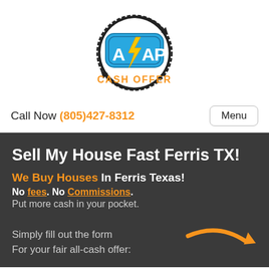[Figure (logo): ASAP Cash Offer logo — blue badge with A and AP text, yellow lightning bolt in center, surrounded by circular arrow clockwise design, with 'CASH OFFER' text in orange below badge]
Call Now (805)427-8312   Menu
Sell My House Fast Ferris TX!
We Buy Houses In Ferris Texas!
No fees. No Commissions.
Put more cash in your pocket.
Simply fill out the form
For your fair all-cash offer: